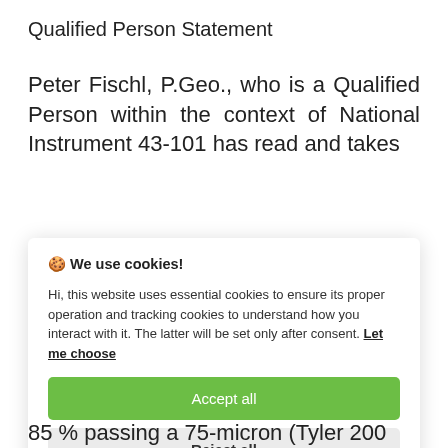Qualified Person Statement
Peter Fischl, P.Geo., who is a Qualified Person within the context of National Instrument 43-101 has read and takes
[Figure (screenshot): Cookie consent modal overlay with title 'We use cookies!', body text about essential and tracking cookies, a 'Let me choose' link, an 'Accept all' green button, and a 'Reject all' grey button.]
85 % passing a 75-micron (Tyler 200